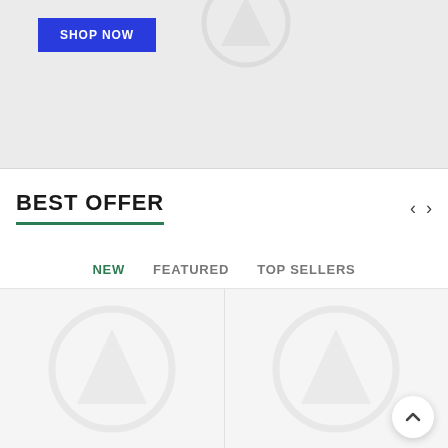[Figure (screenshot): Hero banner section with a gray background, a placeholder image icon (circle with triangle inside) at top center, and a blue 'SHOP NOW' button on the left.]
BEST OFFER
NEW
FEATURED
TOP SELLERS
[Figure (screenshot): Two product cards side by side, each showing a gray placeholder image icon (circle with arrow/triangle inside) on a light gray background.]
[Figure (other): Scroll-to-top button (white circle with upward chevron) in bottom-right corner.]